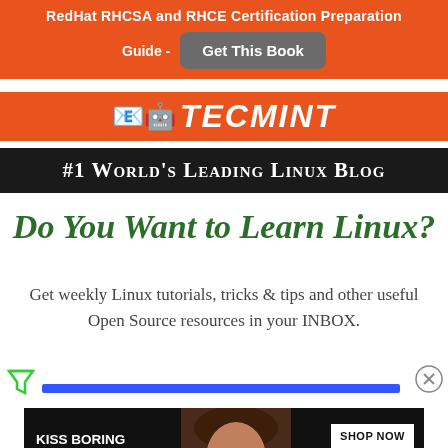RedHat RHCSA and RHCE Certification Preparation Guide - Get This Book
[Figure (logo): TecMint logo with envelope emoji and italic white text on orange background]
#1 World's Leading Linux Blog
Do You Want to Learn Linux?
Get weekly Linux tutorials, tricks & tips and other useful Open Source resources in your INBOX.
[Figure (infographic): Filter funnel icon on left, close X circle on right, blue horizontal progress/ad bar]
[Figure (photo): Macy's advertisement banner: KISS BORING LIPS GOODBYE with SHOP NOW button and Macy's star logo, woman's face with red lips]